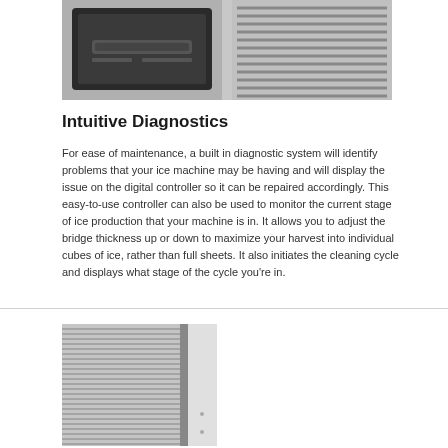[Figure (photo): Close-up photo of an ice machine front panel showing a dark digital controller/display unit and ventilation grille on a stainless steel body.]
Intuitive Diagnostics
For ease of maintenance, a built in diagnostic system will identify problems that your ice machine may be having and will display the issue on the digital controller so it can be repaired accordingly. This easy-to-use controller can also be used to monitor the current stage of ice production that your machine is in. It allows you to adjust the bridge thickness up or down to maximize your harvest into individual cubes of ice, rather than full sheets. It also initiates the cleaning cycle and displays what stage of the cycle you're in.
[Figure (photo): Close-up photo of an ice machine condenser/evaporator coils with horizontal fins and a vertical divider panel, showing silver metallic louvered panels.]